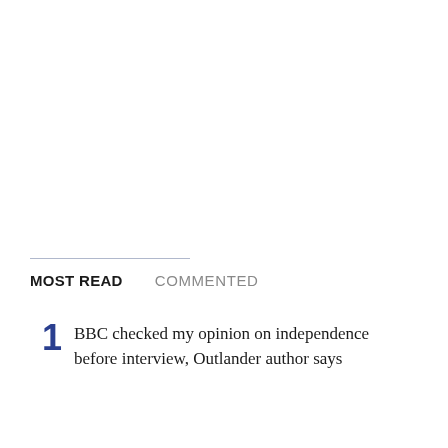MOST READ   COMMENTED
BBC checked my opinion on independence before interview, Outlander author says